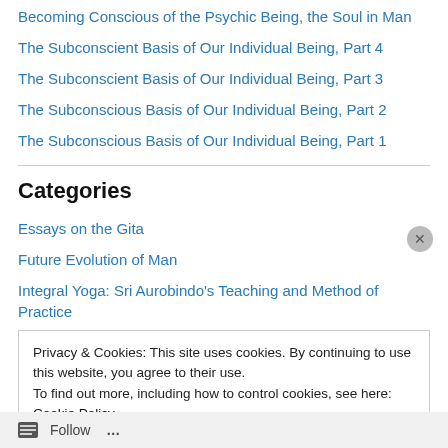Becoming Conscious of the Psychic Being, the Soul in Man
The Subconscient Basis of Our Individual Being, Part 4
The Subconscient Basis of Our Individual Being, Part 3
The Subconscious Basis of Our Individual Being, Part 2
The Subconscious Basis of Our Individual Being, Part 1
Categories
Essays on the Gita
Future Evolution of Man
Integral Yoga: Sri Aurobindo's Teaching and Method of Practice
Introductory
Privacy & Cookies: This site uses cookies. By continuing to use this website, you agree to their use.
To find out more, including how to control cookies, see here: Cookie Policy
Close and accept
Follow